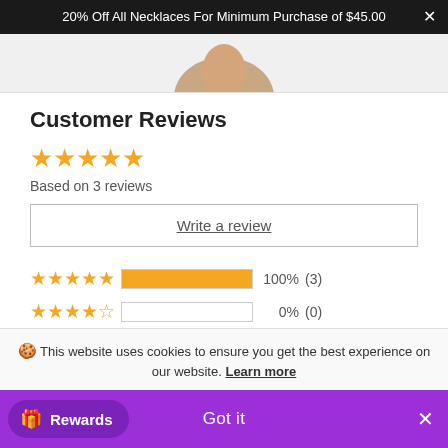20% Off All Necklaces For Minimum Purchase of $45.00 ×
[Figure (photo): Partial product image at top of page]
Customer Reviews
★★★★★ Based on 3 reviews
Write a review
★★★★★ 100% (3)
★★★★☆ 0% (0)
★★★☆☆ 0% (0)
★★☆☆☆ 0% (0)
🍪 This website uses cookies to ensure you get the best experience on our website. Learn more
Rewards  Got it  ×